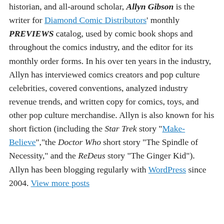historian, and all-around scholar, Allyn Gibson is the writer for Diamond Comic Distributors' monthly PREVIEWS catalog, used by comic book shops and throughout the comics industry, and the editor for its monthly order forms. In his over ten years in the industry, Allyn has interviewed comics creators and pop culture celebrities, covered conventions, analyzed industry revenue trends, and written copy for comics, toys, and other pop culture merchandise. Allyn is also known for his short fiction (including the Star Trek story "Make-Believe","the Doctor Who short story "The Spindle of Necessity," and the ReDeus story "The Ginger Kid"). Allyn has been blogging regularly with WordPress since 2004. View more posts